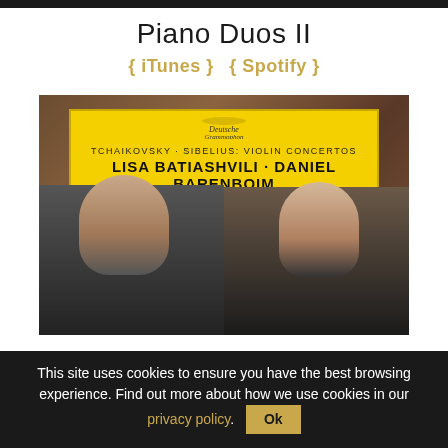Piano Duos II
{ iTunes }  { Spotify }
[Figure (photo): Album cover for Tchaikovsky · Sibelius: Violin Concertos featuring Lisa Batiashvili and Daniel Barenboim with Staatskapelle Berlin. Deutsche Grammophon yellow label on a wooden-toned background, with two performers shown below.]
This site uses cookies to ensure you have the best browsing experience. Find out more about how we use cookies in our privacy policy.
Ok